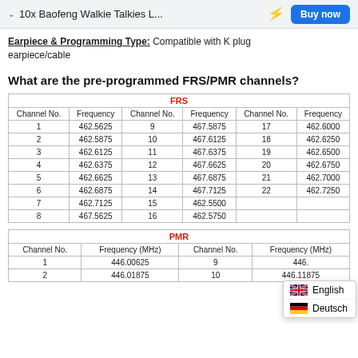10x Baofeng Walkie Talkies L...
Earpiece & Programming Type: Compatible with K plug earpiece/cable
What are the pre-programmed FRS/PMR channels?
| Channel No. | Frequency | Channel No. | Frequency | Channel No. | Frequency |
| --- | --- | --- | --- | --- | --- |
| 1 | 462.5625 | 9 | 467.5875 | 17 | 462.6000 |
| 2 | 462.5875 | 10 | 467.6125 | 18 | 462.6250 |
| 3 | 462.6125 | 11 | 467.6375 | 19 | 462.6500 |
| 4 | 462.6375 | 12 | 467.6625 | 20 | 462.6750 |
| 5 | 462.6625 | 13 | 467.6875 | 21 | 462.7000 |
| 6 | 462.6875 | 14 | 467.7125 | 22 | 462.7250 |
| 7 | 462.7125 | 15 | 462.5500 |  |  |
| 8 | 467.5625 | 16 | 462.5750 |  |  |
| Channel No. | Frequency (MHz) | Channel No. | Frequency (MHz) |
| --- | --- | --- | --- |
| 1 | 446.00625 | 9 | 446... |
| 2 | 446.01875 | 10 | 446.11875 |